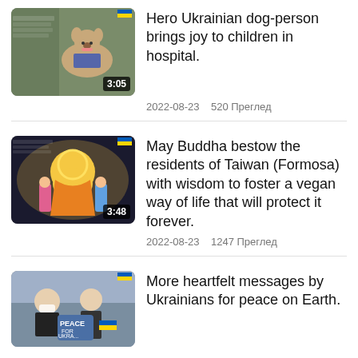[Figure (screenshot): Video thumbnail of a dog (Jack Russell Terrier) outdoors with duration badge 3:05]
Hero Ukrainian dog-person brings joy to children in hospital.
2022-08-23    520 Преглед
[Figure (screenshot): Video thumbnail showing Buddha illustration with duration badge 3:48]
May Buddha bestow the residents of Taiwan (Formosa) with wisdom to foster a vegan way of life that will protect it forever.
2022-08-23    1247 Преглед
[Figure (screenshot): Video thumbnail showing people holding Peace for Ukraine signs]
More heartfelt messages by Ukrainians for peace on Earth.
Гледайте още